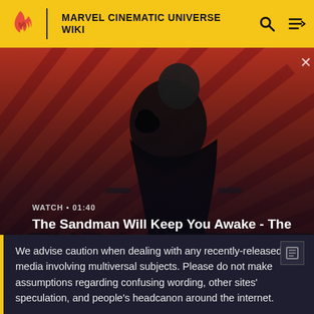MARVEL CINEMATIC UNIVERSE WIKI
[Figure (screenshot): Video thumbnail showing a dark figure with a raven on shoulder against a red diagonal striped background. Text reads WATCH · 01:40 with title The Sandman Will Keep You Awake - The Loop and a white play button circle.]
We advise caution when dealing with any recently-released media involving multiversal subjects. Please do not make assumptions regarding confusing wording, other sites' speculation, and people's headcanon around the internet.